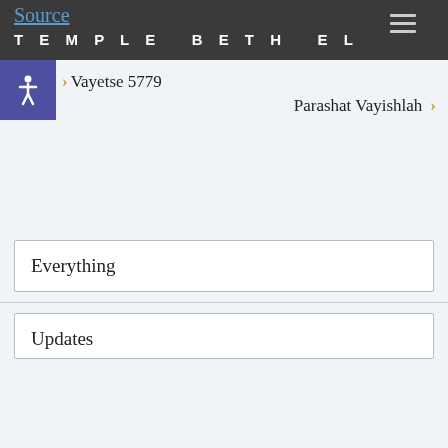Source
TEMPLE BETH EL
Vayetse 5779
Parashat Vayishlah
Everything
Updates